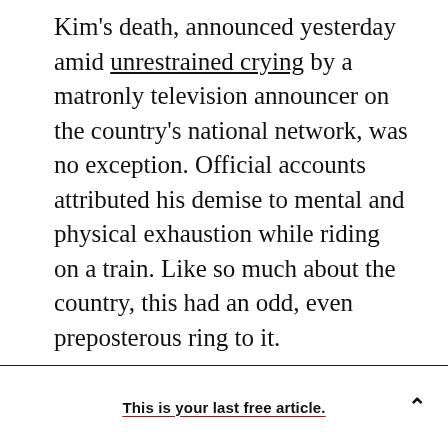Kim's death, announced yesterday amid unrestrained crying by a matronly television announcer on the country's national network, was no exception. Official accounts attributed his demise to mental and physical exhaustion while riding on a train. Like so much about the country, this had an odd, even preposterous ring to it.

Today, as journalists, diplomats, and other analysts try to explain the workings of a country that has remained remarkably closed even as the world has grown hyper-connected, there is one story line, as commonplace as it is tempting, that demands
This is your last free article.